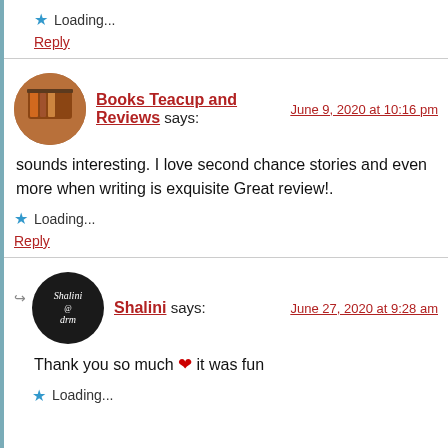★ Loading...
Reply
Books Teacup and Reviews says: June 9, 2020 at 10:16 pm
sounds interesting. I love second chance stories and even more when writing is exquisite Great review!.
★ Loading...
Reply
Shalini says: June 27, 2020 at 9:28 am
Thank you so much ❤ it was fun
★ Loading...